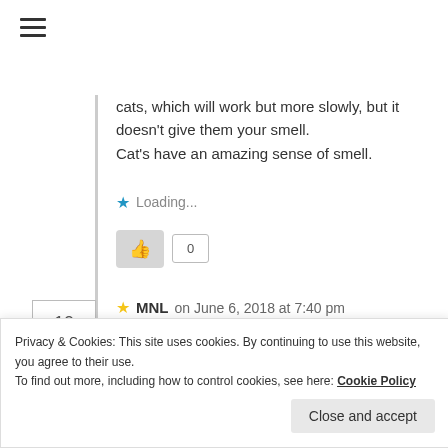[Figure (other): Hamburger menu icon (three horizontal lines)]
cats, which will work but more slowly, but it doesn't give them your smell.
Cat's have an amazing sense of smell.
Loading...
[Figure (other): Thumbs up button with count box showing 0]
10
MNL on June 6, 2018 at 7:40 pm
that's a cool idea. I'll try that
Privacy & Cookies: This site uses cookies. By continuing to use this website, you agree to their use.
To find out more, including how to control cookies, see here: Cookie Policy
Close and accept